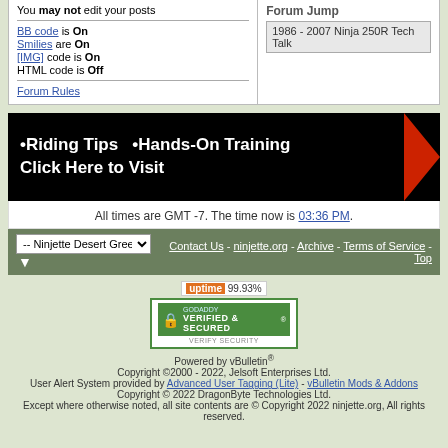You may not edit your posts
BB code is On
Smilies are On
[IMG] code is On
HTML code is Off
Forum Rules
Forum Jump
1986 - 2007 Ninja 250R Tech Talk
[Figure (infographic): Black banner ad: •Riding Tips  •Hands-On Training  Click Here to Visit with red arrow on right]
All times are GMT -7. The time now is 03:36 PM.
-- Ninjette Desert Green  |  Contact Us - ninjette.org - Archive - Terms of Service - Top
[Figure (logo): uptime 99.93% badge and GoDaddy Verified & Secured badge]
Powered by vBulletin®
Copyright ©2000 - 2022, Jelsoft Enterprises Ltd.
User Alert System provided by Advanced User Tagging (Lite) - vBulletin Mods & Addons
Copyright © 2022 DragonByte Technologies Ltd.
Except where otherwise noted, all site contents are © Copyright 2022 ninjette.org, All rights reserved.